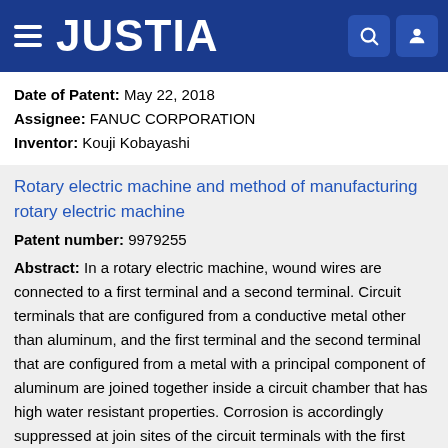JUSTIA
Date of Patent: May 22, 2018
Assignee: FANUC CORPORATION
Inventor: Kouji Kobayashi
Rotary electric machine and method of manufacturing rotary electric machine
Patent number: 9979255
Abstract: In a rotary electric machine, wound wires are connected to a first terminal and a second terminal. Circuit terminals that are configured from a conductive metal other than aluminum, and the first terminal and the second terminal that are configured from a metal with a principal component of aluminum are joined together inside a circuit chamber that has high water resistant properties. Corrosion is accordingly suppressed at join sites of the circuit terminals with the first terminal and the second terminal. The corrosion...